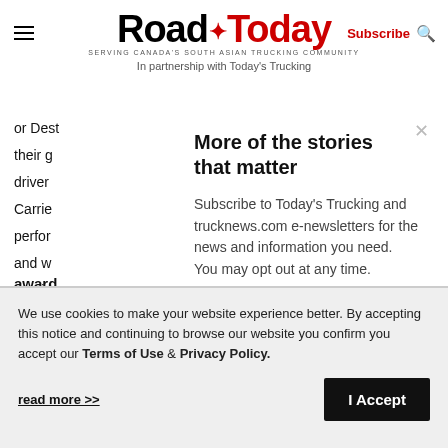Road Today — SERVING CANADA'S SOUTH ASIAN TRUCKING COMMUNITY — In partnership with Today's Trucking
or Dest... their g... driver... Carrie... perfor... and w... provid... the go... award
More of the stories that matter
Subscribe to Today's Trucking and trucknews.com e-newsletters for the news and information you need. You may opt out at any time.
Email
We use cookies to make your website experience better. By accepting this notice and continuing to browse our website you confirm you accept our Terms of Use & Privacy Policy.
read more >>
I Accept